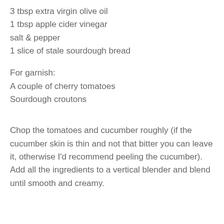3 tbsp extra virgin olive oil
1 tbsp apple cider vinegar
salt & pepper
1 slice of stale sourdough bread
For garnish:
A couple of cherry tomatoes
Sourdough croutons
Chop the tomatoes and cucumber roughly (if the cucumber skin is thin and not that bitter you can leave it, otherwise I'd recommend peeling the cucumber).
Add all the ingredients to a vertical blender and blend until smooth and creamy.